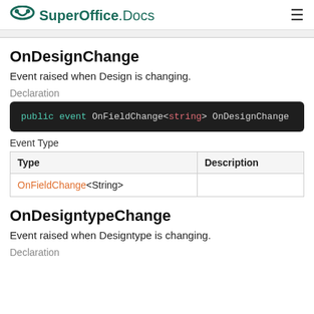SuperOffice.Docs
OnDesignChange
Event raised when Design is changing.
Declaration
public event OnFieldChange<string> OnDesignChange
Event Type
| Type | Description |
| --- | --- |
| OnFieldChange<String> |  |
OnDesigntypeChange
Event raised when Designtype is changing.
Declaration